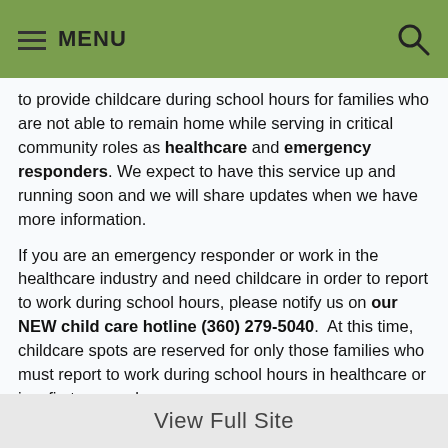MENU
to provide childcare during school hours for families who are not able to remain home while serving in critical community roles as healthcare and emergency responders. We expect to have this service up and running soon and we will share updates when we have more information.
If you are an emergency responder or work in the healthcare industry and need childcare in order to report to work during school hours, please notify us on our NEW child care hotline (360) 279-5040. At this time, childcare spots are reserved for only those families who must report to work during school hours in healthcare or is a first responder.
View Full Site